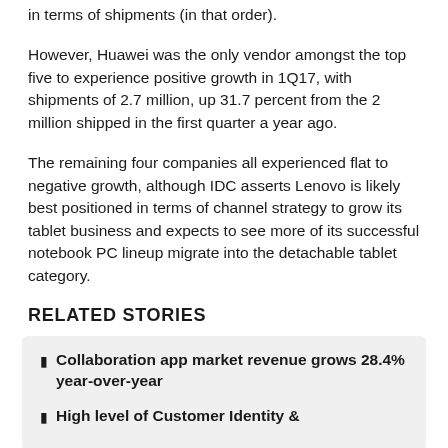in terms of shipments (in that order).
However, Huawei was the only vendor amongst the top five to experience positive growth in 1Q17, with shipments of 2.7 million, up 31.7 percent from the 2 million shipped in the first quarter a year ago.
The remaining four companies all experienced flat to negative growth, although IDC asserts Lenovo is likely best positioned in terms of channel strategy to grow its tablet business and expects to see more of its successful notebook PC lineup migrate into the detachable tablet category.
RELATED STORIES
Collaboration app market revenue grows 28.4% year-over-year
High level of Customer Identity &